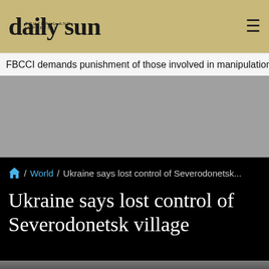daily sun — TRUTHFUL AND IMPARTIAL
FBCCI demands punishment of those involved in manipulation of egg
[Figure (other): Gray advertisement placeholder area]
/ World / Ukraine says lost control of Severodonetsk...
Ukraine says lost control of Severodonetsk village
[Figure (photo): Dark smoky warzone photo with structures visible through haze]